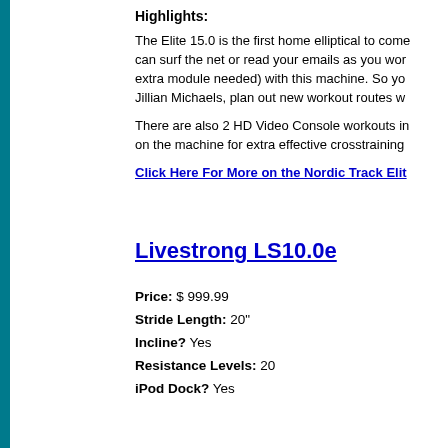Highlights:
The Elite 15.0 is the first home elliptical to come with a built-in browser so you can surf the net or read your emails as you work out. You can connect wirelessly (no extra module needed) with this machine. So you can use Workout Apps, train with Jillian Michaels, plan out new workout routes w...
There are also 2 HD Video Console workouts in the machine plus you can use iFit on the machine for extra effective crosstraining...
Click Here For More on the Nordic Track Elit...
Livestrong LS10.0e
Price: $ 999.99
Stride Length: 20"
Incline? Yes
Resistance Levels: 20
iPod Dock? Yes